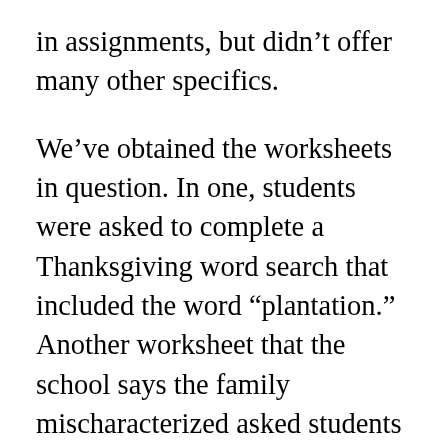in assignments, but didn't offer many other specifics.
We've obtained the worksheets in question. In one, students were asked to complete a Thanksgiving word search that included the word “plantation.” Another worksheet that the school says the family mischaracterized asked students to find classmates who engaged in sports, watched a movie or visited another state during winter and spring breaks.